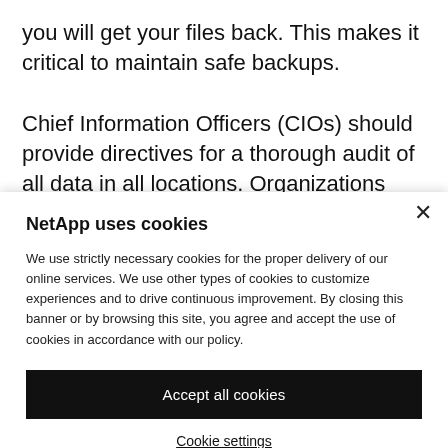you will get your files back. This makes it critical to maintain safe backups.
Chief Information Officers (CIOs) should provide directives for a thorough audit of all data in all locations. Organizations must examine all data,
NetApp uses cookies
We use strictly necessary cookies for the proper delivery of our online services. We use other types of cookies to customize experiences and to drive continuous improvement. By closing this banner or by browsing this site, you agree and accept the use of cookies in accordance with our policy.
Accept all cookies
Cookie settings